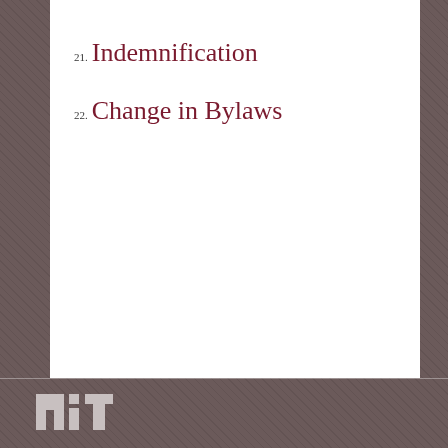21. Indemnification
22. Change in Bylaws
[Figure (logo): MIT logo - stylized 'Mit' in white block letters]
Office of the Corporation
Massachusetts Institute of Technology
77 Massachusetts Avenue
Cambridge MA 02139-4307

Room 7-203
Phone 617.253.5614
Fax 617.253.8544
Accessibility